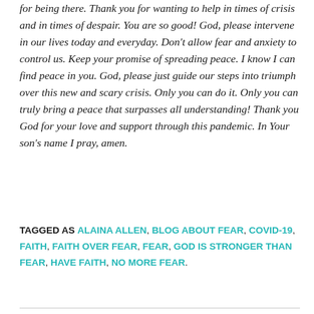for being there. Thank you for wanting to help in times of crisis and in times of despair. You are so good! God, please intervene in our lives today and everyday. Don't allow fear and anxiety to control us. Keep your promise of spreading peace. I know I can find peace in you. God, please just guide our steps into triumph over this new and scary crisis. Only you can do it. Only you can truly bring a peace that surpasses all understanding! Thank you God for your love and support through this pandemic. In Your son's name I pray, amen.
TAGGED AS ALAINA ALLEN, BLOG ABOUT FEAR, COVID-19, FAITH, FAITH OVER FEAR, FEAR, GOD IS STRONGER THAN FEAR, HAVE FAITH, NO MORE FEAR.